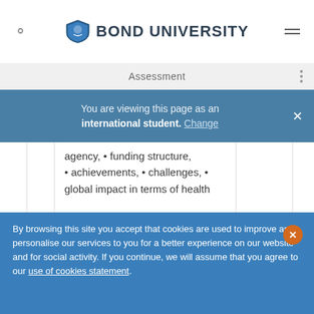Bond University
Assessment
You are viewing this page as an international student. Change
agency, • funding structure, • achievements, • challenges, • global impact in terms of health
By browsing this site you accept that cookies are used to improve and personalise our services to you for a better experience on our website and for social activity. If you continue, we will assume that you agree to our use of cookies statement.